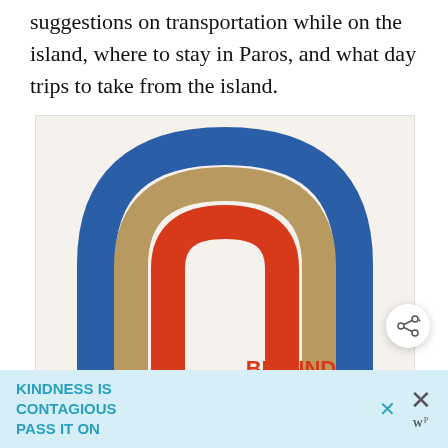suggestions on transportation while on the island, where to stay in Paros, and what day trips to take from the island.
[Figure (illustration): Advertisement illustration showing a rainbow graphic with three concentric arch shapes in blue (outer), tan/khaki (middle), and red/orange (inner) on a cream background, with text 'BE KIND.' in red below the arches.]
[Figure (other): Bottom advertisement banner with light blue background showing text 'KINDNESS IS CONTAGIOUS PASS IT ON' in teal/cyan bold uppercase letters, with a close X button and a logo/icon on the right side.]